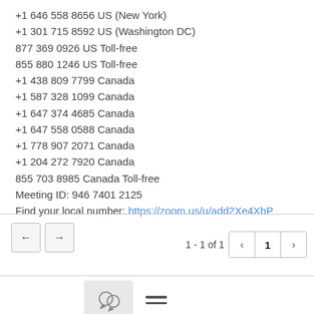+1 646 558 8656 US (New York)
+1 301 715 8592 US (Washington DC)
877 369 0926 US Toll-free
855 880 1246 US Toll-free
+1 438 809 7799 Canada
+1 587 328 1099 Canada
+1 647 374 4685 Canada
+1 647 558 0588 Canada
+1 778 907 2071 Canada
+1 204 272 7920 Canada
855 703 8985 Canada Toll-free
Meeting ID: 946 7401 2125
Find your local number: https://zoom.us/u/add2Xe4XbP
1 - 1 of 1